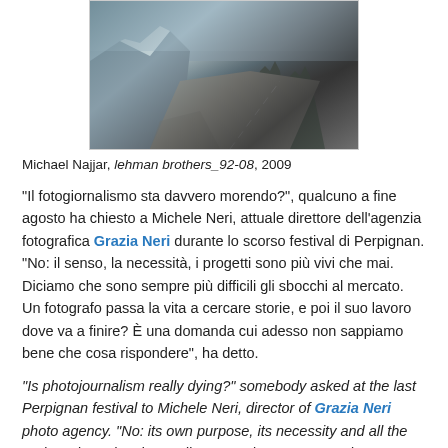[Figure (photo): Photograph of a mountain road with rocky snow-covered peaks and trees, diagonal composition]
Michael Najjar, lehman brothers_92-08, 2009
"Il fotogiornalismo sta davvero morendo?", qualcuno a fine agosto ha chiesto a Michele Neri, attuale direttore dell'agenzia fotografica Grazia Neri durante lo scorso festival di Perpignan. "No: il senso, la necessità, i progetti sono più vivi che mai. Diciamo che sono sempre più difficili gli sbocchi al mercato. Un fotografo passa la vita a cercare storie, e poi il suo lavoro dove va a finire? È una domanda cui adesso non sappiamo bene che cosa rispondere", ha detto.
"Is photojournalism really dying?" somebody asked at the last Perpignan festival to Michele Neri, director of Grazia Neri photo agency. "No: its own purpose, its necessity and all the projects based on it are alive more than ever. Let's just say that access to the market is more and more difficult